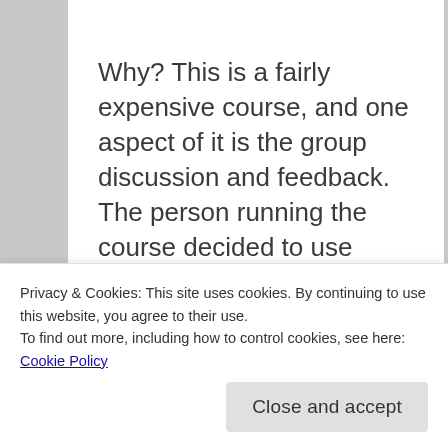Why? This is a fairly expensive course, and one aspect of it is the group discussion and feedback. The person running the course decided to use Facebook.
That’s not the only Facebook group I use, but I know that some of the participants had to create
Privacy & Cookies: This site uses cookies. By continuing to use this website, you agree to their use.
To find out more, including how to control cookies, see here: Cookie Policy
Close and accept
parents, charities that use it to get